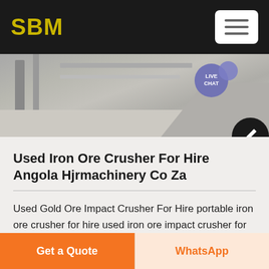SBM
[Figure (photo): Industrial/mining machinery equipment photo showing metal structures and floor]
Used Iron Ore Crusher For Hire Angola Hjrmachinery Co Za
Used Gold Ore Impact Crusher For Hire portable iron ore crusher for hire used iron ore impact crusher for used iron ore cone crusher for hire in angola Read more mobile jaw crusher for rent russia YouTube Feb 16 2016 Home Solutions Project mobile jaw crusher for copper ore made in Iron Ore